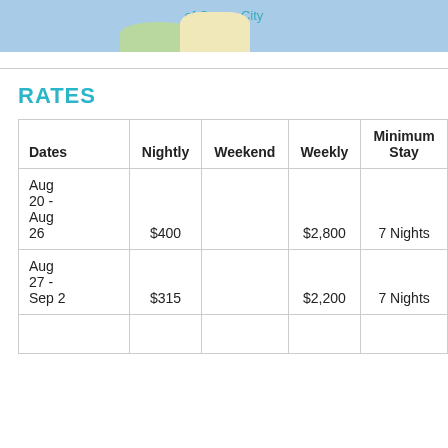[Figure (map): Partial map showing Ocean City area with blue background, green and yellow land features, and teal text label partially visible reading 'of Ocean City']
RATES
| Dates | Nightly | Weekend | Weekly | Minimum Stay |
| --- | --- | --- | --- | --- |
| Aug 20 - Aug 26 | $400 |  | $2,800 | 7 Nights |
| Aug 27 - Sep 2 | $315 |  | $2,200 | 7 Nights |
|  |  |  |  |  |